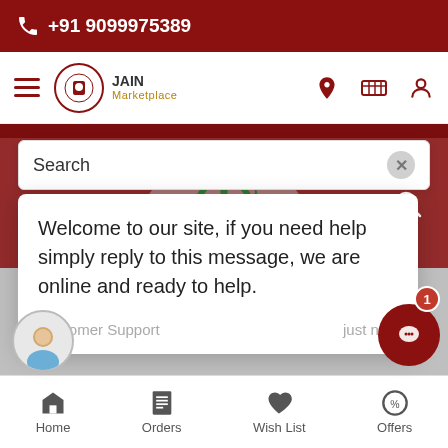+91 9099975389
[Figure (screenshot): Jain Marketplace navigation bar with hamburger menu, logo, location, cart, and profile icons]
Search
Welcome to our site, if you need help simply reply to this message, we are online and ready to help.
Customer Support    just now
[Figure (photo): Background image with green Jain logo symbol]
Home   Orders   Wish List   Offers